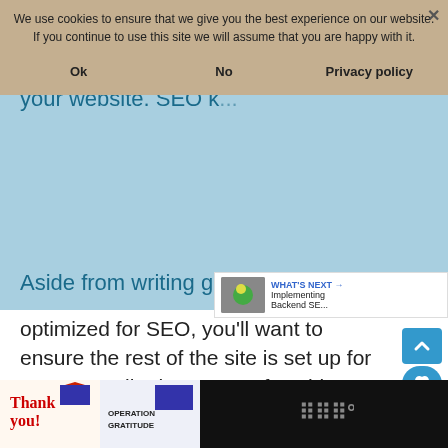[Figure (screenshot): Cookie consent banner with Ok, No, and Privacy policy buttons overlaid on a webpage about SEO]
should be done. I call this "Backend SEO" since it the backend settings of your website. SEO k... ... of the SEO ...
Aside from writing great content that is
optimized for SEO, you'll want to ensure the rest of the site is set up for SEO as well. These are a few things that can help.
SEO friendly URL – Ensure you have changed the settings for your permalink structure. Go to Settings – Per... check the box for "Post Name."
[Figure (screenshot): Bottom advertisement bar with Thank you military Operation Gratitude banner ad]
[Figure (screenshot): What's Next: Implementing Backend SE... promo box]